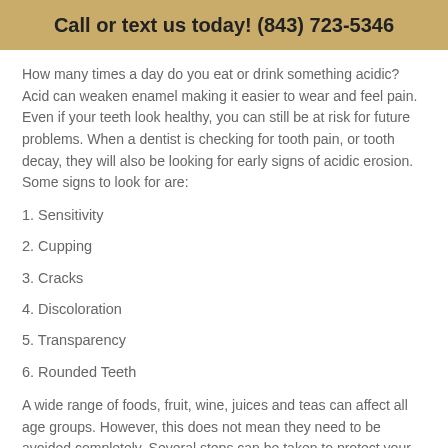Call or text us today! (843) 723-5346
How many times a day do you eat or drink something acidic? Acid can weaken enamel making it easier to wear and feel pain. Even if your teeth look healthy, you can still be at risk for future problems. When a dentist is checking for tooth pain, or tooth decay, they will also be looking for early signs of acidic erosion. Some signs to look for are:
1. Sensitivity
2. Cupping
3. Cracks
4. Discoloration
5. Transparency
6. Rounded Teeth
A wide range of foods, fruit, wine, juices and teas can affect all age groups. However, this does not mean they need to be avoided completely. Several steps can be taken to protect your teeth